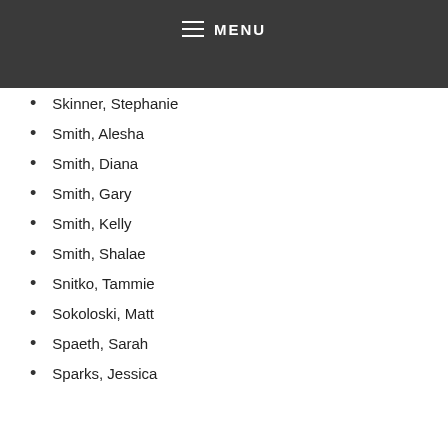MENU
Skinner, Stephanie
Smith, Alesha
Smith, Diana
Smith, Gary
Smith, Kelly
Smith, Shalae
Snitko, Tammie
Sokoloski, Matt
Spaeth, Sarah
Sparks, Jessica